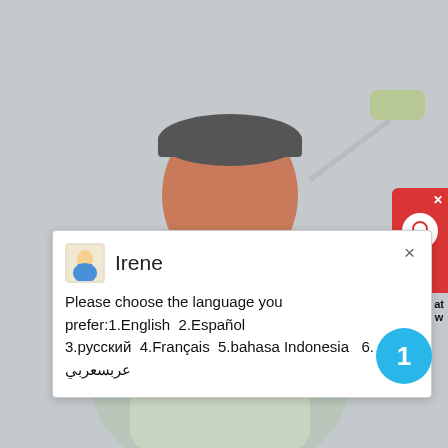[Figure (illustration): Cartoon figurine of a painter/worker man holding a paint roller, wearing overalls and a cap, on a grey background.]
Irene
Please choose the language you prefer:1.English  2.Español  3.русский  4.Français  5.bahasa Indonesia   6. عربسعربي
[Figure (other): Red live chat widget button with headset icon and close button, positioned at right edge.]
at
w
1